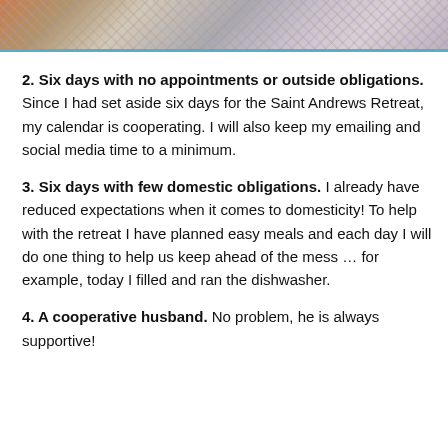[Figure (photo): Top portion of a photo showing fabric swatches or a quilt in a blue-bordered tray, with colorful and patterned fabrics visible.]
2. Six days with no appointments or outside obligations. Since I had set aside six days for the Saint Andrews Retreat, my calendar is cooperating. I will also keep my emailing and social media time to a minimum.
3. Six days with few domestic obligations. I already have reduced expectations when it comes to domesticity! To help with the retreat I have planned easy meals and each day I will do one thing to help us keep ahead of the mess … for example, today I filled and ran the dishwasher.
4. A cooperative husband. No problem, he is always supportive!